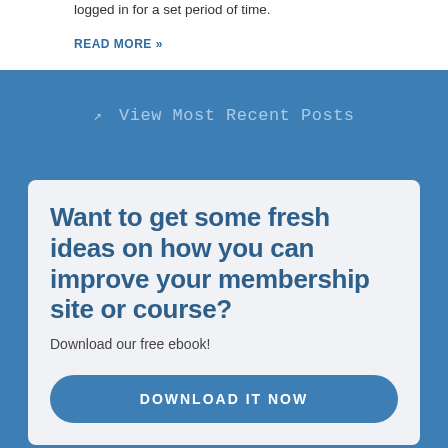logged in for a set period of time.
READ MORE »
View Most Recent Posts
Want to get some fresh ideas on how you can improve your membership site or course?
Download our free ebook!
DOWNLOAD IT NOW